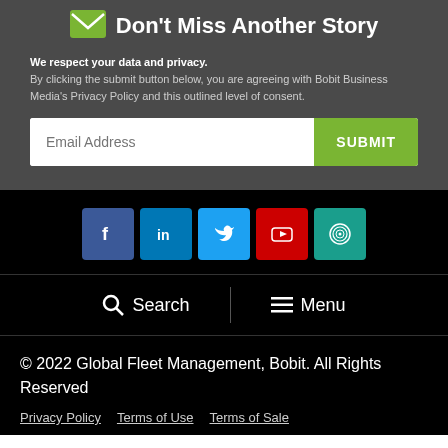Don't Miss Another Story
We respect your data and privacy. By clicking the submit button below, you are agreeing with Bobit Business Media's Privacy Policy and this outlined level of consent.
[Figure (screenshot): Email address input field with green SUBMIT button]
[Figure (infographic): Social media icons: Facebook, LinkedIn, Twitter, YouTube, and a fingerprint/globe icon]
Search   Menu
© 2022 Global Fleet Management, Bobit. All Rights Reserved
Privacy Policy   Terms of Use   Terms of Sale